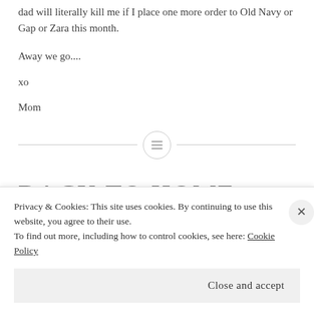dad will literally kill me if I place one more order to Old Navy or Gap or Zara this month.
Away we go....
xo
Mom
[Figure (other): Horizontal divider with a small circle icon containing horizontal lines in the center]
BACK TO HOME
Privacy & Cookies: This site uses cookies. By continuing to use this website, you agree to their use.
To find out more, including how to control cookies, see here: Cookie Policy
Close and accept